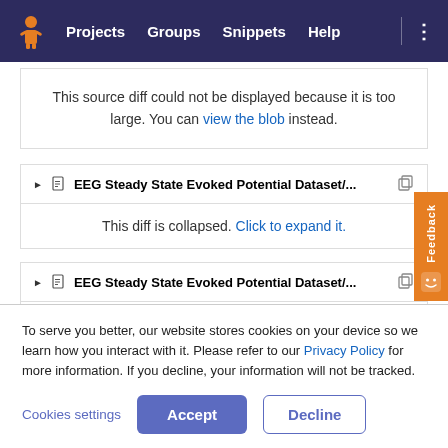[Figure (screenshot): GitLab-style navigation bar with logo, Projects, Groups, Snippets, Help links on dark purple background]
This source diff could not be displayed because it is too large. You can view the blob instead.
EEG Steady State Evoked Potential Dataset/... This diff is collapsed. Click to expand it.
EEG Steady State Evoked Potential Dataset/... This diff is collapsed. Click to expand it.
To serve you better, our website stores cookies on your device so we learn how you interact with it. Please refer to our Privacy Policy for more information. If you decline, your information will not be tracked.